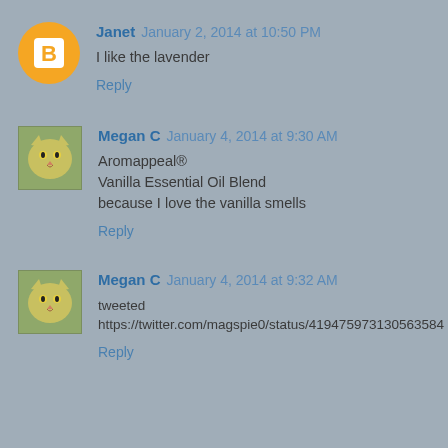Janet January 2, 2014 at 10:50 PM
I like the lavender
Reply
Megan C January 4, 2014 at 9:30 AM
Aromappeal®
Vanilla Essential Oil Blend
because I love the vanilla smells
Reply
Megan C January 4, 2014 at 9:32 AM
tweeted
https://twitter.com/magspie0/status/419475973130563584
Reply